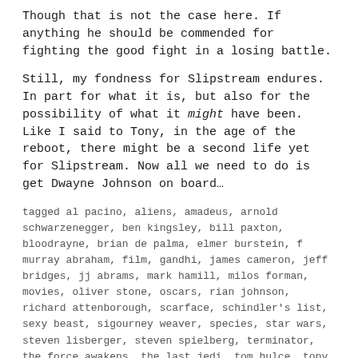Though that is not the case here. If anything he should be commended for fighting the good fight in a losing battle.
Still, my fondness for Slipstream endures. In part for what it is, but also for the possibility of what it might have been. Like I said to Tony, in the age of the reboot, there might be a second life yet for Slipstream. Now all we need to do is get Dwayne Johnson on board…
tagged al pacino, aliens, amadeus, arnold schwarzenegger, ben kingsley, bill paxton, bloodrayne, brian de palma, elmer burstein, f murray abraham, film, gandhi, james cameron, jeff bridges, jj abrams, mark hamill, milos forman, movies, oliver stone, oscars, rian johnson, richard attenborough, scarface, schindler's list, sexy beast, sigourney weaver, species, star wars, steven lisberger, steven spielberg, terminator, the force awakens, the last jedi, tom hulce, tony kayden, tron      leave a comment